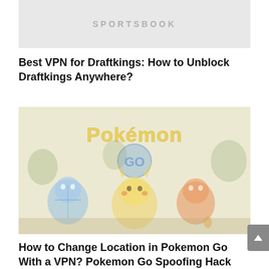[Figure (other): Sportsbook banner image with gray background and 'SPORTSBOOK' text in light gray letters]
Best VPN for Draftkings: How to Unblock Draftkings Anywhere?
[Figure (illustration): Pokemon Go promotional image showing Squirtle, Pikachu, Charmander and other Pokemon characters with the Pokemon Go logo in a faded/washed out style]
How to Change Location in Pokemon Go With a VPN? Pokemon Go Spoofing Hack Explained